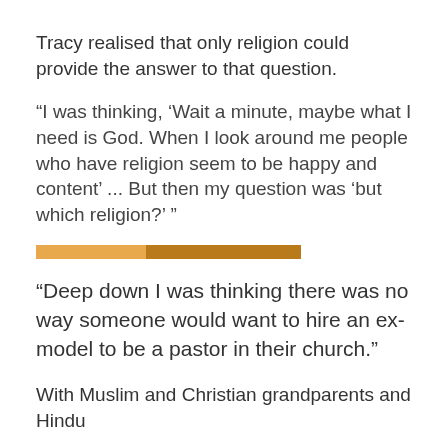Tracy realised that only religion could provide the answer to that question.
“I was thinking, ‘Wait a minute, maybe what I need is God. When I look around me people who have religion seem to be happy and content’ ... But then my question was ‘but which religion?’ ”
[Figure (infographic): A horizontal two-tone decorative bar: left portion is light orange, right portion is dark orange/brown.]
“Deep down I was thinking there was no way someone would want to hire an ex-model to be a pastor in their church.”
With Muslim and Christian grandparents and Hindu